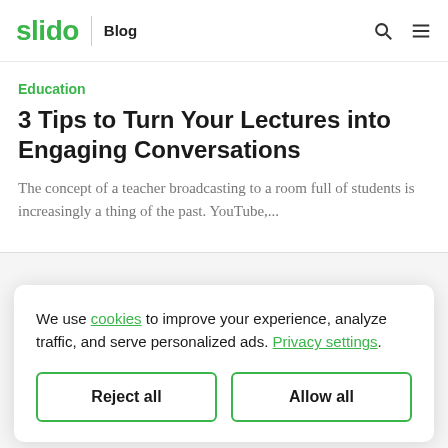slido | Blog
Education
3 Tips to Turn Your Lectures into Engaging Conversations
The concept of a teacher broadcasting to a room full of students is increasingly a thing of the past. YouTube,...
We use cookies to improve your experience, analyze traffic, and serve personalized ads. Privacy settings.
Reject all
Allow all
Product